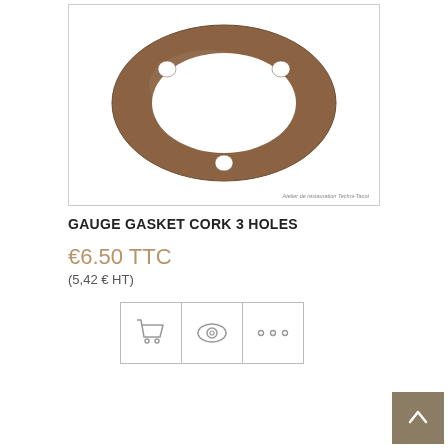[Figure (photo): Cork gasket with 3 bolt holes, oval ring shape, brown color, watermark text 'Atelier de restauration Techni-Tacot']
GAUGE GASKET CORK 3 HOLES
€6.50 TTC
(5,42 € HT)